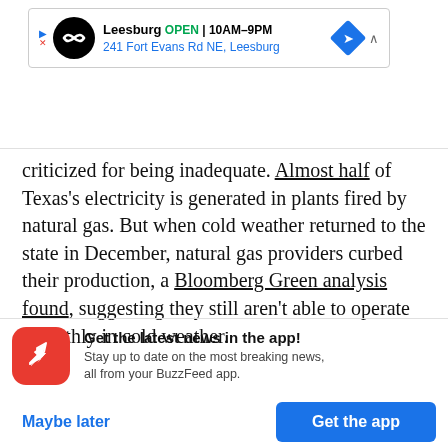[Figure (other): Advertisement banner for a store in Leesburg showing OPEN 10AM-9PM, 241 Fort Evans Rd NE, Leesburg, with a black circular logo and blue navigation diamond icon]
criticized for being inadequate. Almost half of Texas's electricity is generated in plants fired by natural gas. But when cold weather returned to the state in December, natural gas providers curbed their production, a Bloomberg Green analysis found, suggesting they still aren't able to operate smoothly in cold weather.
[Figure (infographic): BuzzFeed app promotion banner: red circular icon with white trending arrow, text 'Get the latest news in the app! Stay up to date on the most breaking news, all from your BuzzFeed app.' with 'Maybe later' and 'Get the app' buttons]